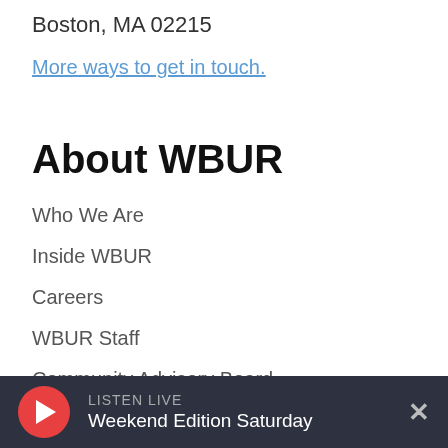Boston, MA 02215
More ways to get in touch.
About WBUR
Who We Are
Inside WBUR
Careers
WBUR Staff
Community Advisory Board
Board Of Directors
CPB Transparency
LISTEN LIVE Weekend Edition Saturday